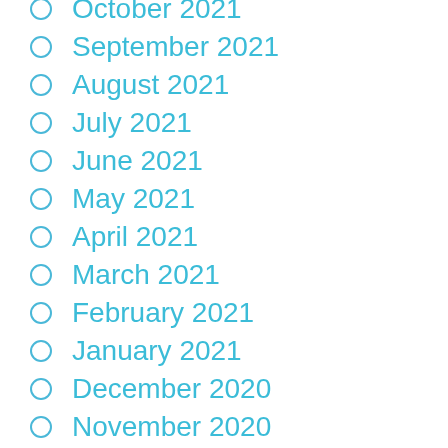October 2021
September 2021
August 2021
July 2021
June 2021
May 2021
April 2021
March 2021
February 2021
January 2021
December 2020
November 2020
October 2020
September 2020
August 2020
July 2020
June 2020
May 2020
April 2020